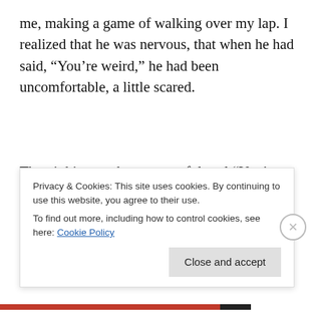me, making a game of walking over my lap. I realized that he was nervous, that when he had said, “You’re weird,” he had been uncomfortable, a little scared.
Then it hit me what a powerful tool “You’re weird” is to a kid. Weird is the worst thing you can be at that age, the doorway to isolation and bullying. Being able to say “You’re weird” with enough poise shows where you stand
Privacy & Cookies: This site uses cookies. By continuing to use this website, you agree to their use.
To find out more, including how to control cookies, see here: Cookie Policy
Close and accept